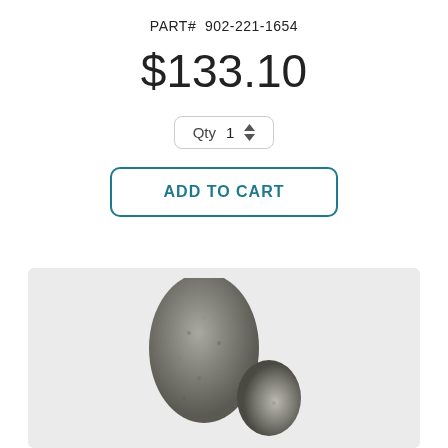PART#  902-221-1654
$133.10
[Figure (screenshot): Quantity selector box showing Qty 1 with up/down arrows]
[Figure (screenshot): ADD TO CART button with teal border]
[Figure (photo): Product photo of a rugged stone or fossil-like part on a light gray background]